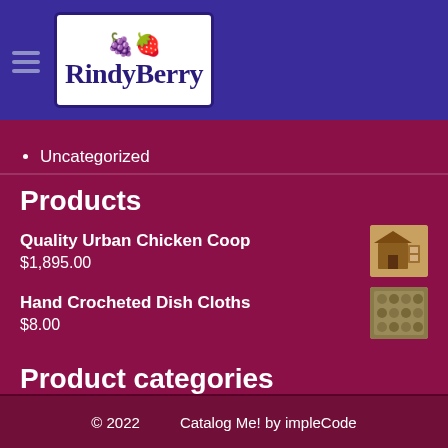Rindy Berry
Uncategorized
Products
Quality Urban Chicken Coop $1,895.00
Hand Crocheted Dish Cloths $8.00
Product categories
Crocheted Items
Meal Worms
Urban Chicken Coops
© 2022   Catalog Me! by impleCode